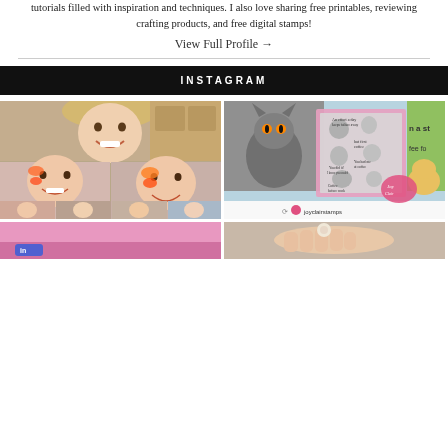tutorials filled with inspiration and techniques. I also love sharing free printables, reviewing crafting products, and free digital stamps!
View Full Profile →
INSTAGRAM
[Figure (photo): Collage of photos showing young girls smiling, some with face paint, group photos]
[Figure (photo): Instagram post from joyclairstamps showing coffee-themed rubber stamps on a pink card with cartoon characters]
[Figure (photo): Partial view of a pink/colorful image, bottom left]
[Figure (photo): Partial view of a hand holding something, bottom right]